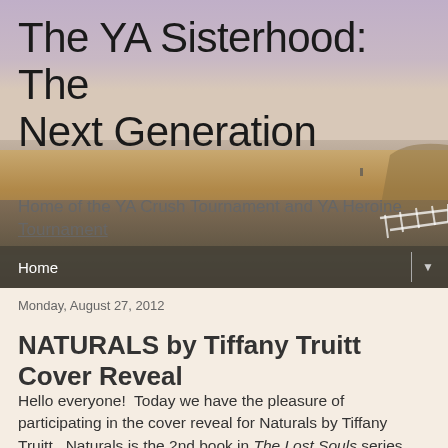[Figure (photo): Beach/coastal landscape background image with sandy shore, calm water, hazy purple-pink sky, and a white fence visible on the right side.]
The YA Sisterhood: The Next Generation
Home of the YA Crush Tournament and YA Heroine Tournament
Home ▼
Monday, August 27, 2012
NATURALS by Tiffany Truitt Cover Reveal
Hello everyone!  Today we have the pleasure of participating in the cover reveal for Naturals by Tiffany Truitt.  Naturals is the 2nd book in The Lost Souls series, with Chosen Ones being Book 1.